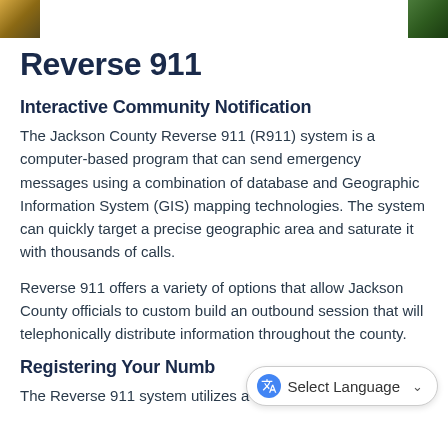[Figure (photo): Header banner with decorative images on left (golden/yellow flowers) and right (green foliage) edges]
Reverse 911
Interactive Community Notification
The Jackson County Reverse 911 (R911) system is a computer-based program that can send emergency messages using a combination of database and Geographic Information System (GIS) mapping technologies. The system can quickly target a precise geographic area and saturate it with thousands of calls.
Reverse 911 offers a variety of options that allow Jackson County officials to custom build an outbound session that will telephonically distribute information throughout the county.
Registering Your Numb
The Reverse 911 system utilizes a computer